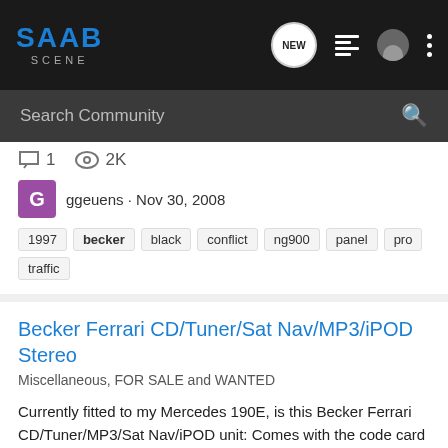SAAB SCENE
Search Community
1  2K
ggeuens · Nov 30, 2008
1997  becker  black  conflict  ng900  panel  pro  traffic
Becker Ferrari CD/Tuner/Sat Nav/MP3/iPOD Stereo
Miscellaneous, FOR SALE and WANTED
Currently fitted to my Mercedes 190E, is this Becker Ferrari CD/Tuner/MP3/Sat Nav/iPOD unit: Comes with the code card and Becker Club membership card. In pristine condition. This unit was originally fitted to a Ferrari 360 Spyder. The iPOD connector cable retails at £99. See...
0  10K
technics1974 · Dec 20, 2007